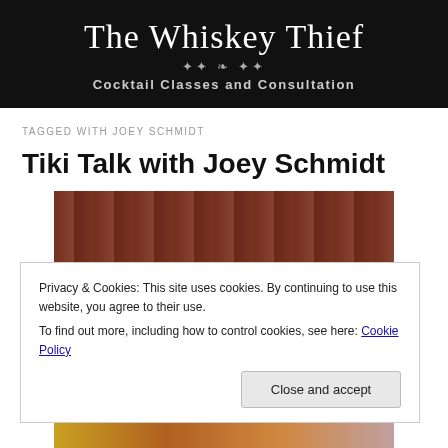The Whiskey Thief
Cocktail Classes and Consultation
TAGGED WITH JOEY SCHMIDT
Tiki Talk with Joey Schmidt
[Figure (photo): Photo of a brick wall with a person partially visible]
Privacy & Cookies: This site uses cookies. By continuing to use this website, you agree to their use.
To find out more, including how to control cookies, see here: Cookie Policy
[Figure (photo): Bottom partial photo showing colorful items]